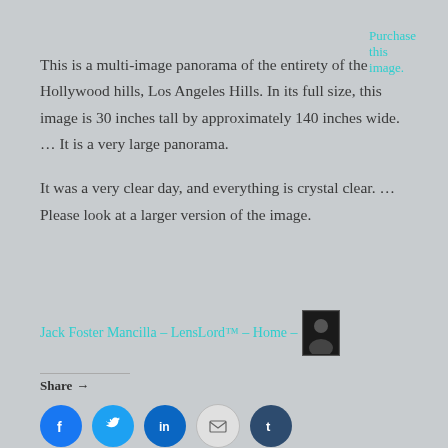Purchase this image.
This is a multi-image panorama of the entirety of the Hollywood hills, Los Angeles Hills. In its full size, this image is 30 inches tall by approximately 140 inches wide. … It is a very large panorama.
It was a very clear day, and everything is crystal clear. … Please look at a larger version of the image.
Jack Foster Mancilla – LensLord™ – Home –
Share →